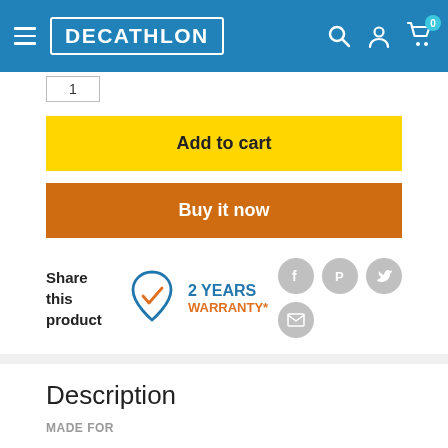DECATHLON
Add to cart
Buy it now
Share this product
[Figure (illustration): Shield icon with checkmark representing warranty]
2 YEARS WARRANTY*
[Figure (illustration): Social media icons: Facebook, Pinterest, Twitter, Email]
Description
MADE FOR